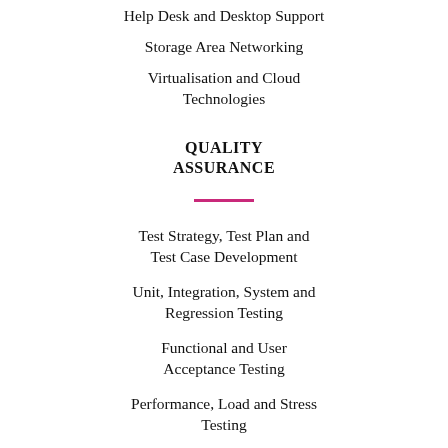Help Desk and Desktop Support
Storage Area Networking
Virtualisation and Cloud Technologies
QUALITY ASSURANCE
Test Strategy, Test Plan and Test Case Development
Unit, Integration, System and Regression Testing
Functional and User Acceptance Testing
Performance, Load and Stress Testing
Automated Testing Tools Selection and Implementation